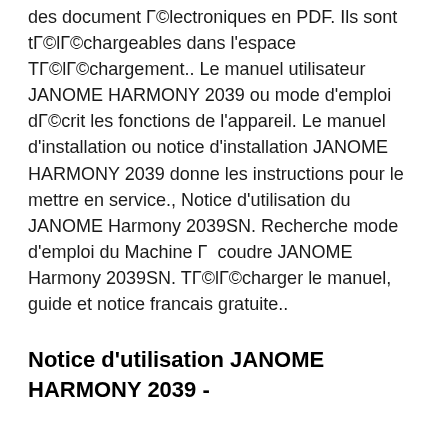des document électroniques en PDF. Ils sont téléchargeables dans l'espace Téléchargement.. Le manuel utilisateur JANOME HARMONY 2039 ou mode d'emploi décrit les fonctions de l'appareil. Le manuel d'installation ou notice d'installation JANOME HARMONY 2039 donne les instructions pour le mettre en service., Notice d'utilisation du JANOME Harmony 2039SN. Recherche mode d'emploi du Machine à coudre JANOME Harmony 2039SN. Télécharger le manuel, guide et notice francais gratuite..
Notice d'utilisation JANOME HARMONY 2039 -